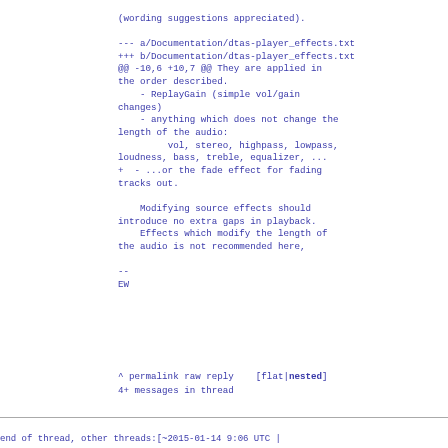(wording suggestions appreciated).

--- a/Documentation/dtas-player_effects.txt
+++ b/Documentation/dtas-player_effects.txt
@@ -10,6 +10,7 @@ They are applied in the order described.
    - ReplayGain (simple vol/gain changes)
    - anything which does not change the length of the audio:
         vol, stereo, highpass, lowpass, loudness, bass, treble, equalizer, ...
+  - ...or the fade effect for fading tracks out.

    Modifying source effects should introduce no extra gaps in playback.
    Effects which modify the length of the audio is not recommended here,

--
EW
^ permalink raw reply    [flat|nested]
4+ messages in thread
end of thread, other threads:[~2015-01-14  9:06 UTC |